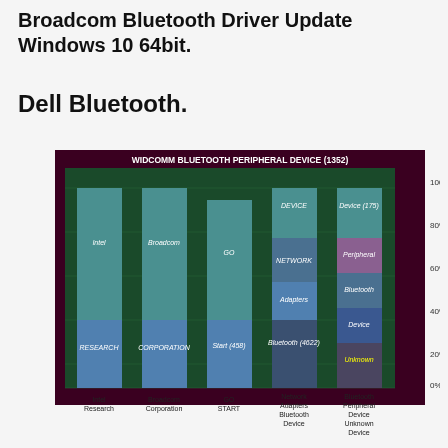Broadcom Bluetooth Driver Update Windows 10 64bit.
Dell Bluetooth.
[Figure (stacked-bar-chart): WIDCOMM BLUETOOTH PERIPHERAL DEVICE (1352)]